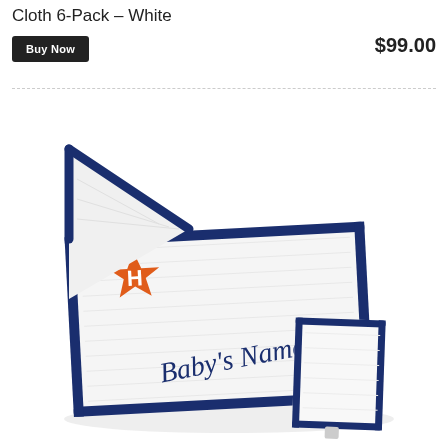Cloth 6-Pack – White
Buy Now
$99.00
[Figure (photo): Houston Astros personalized baby hooded towel and washcloth set. White terrycloth with navy blue trim. Towel has orange Houston Astros 'H' star logo embroidered in upper left and 'Baby's Name' written in navy script across the front. A small matching washcloth is tucked to the right.]